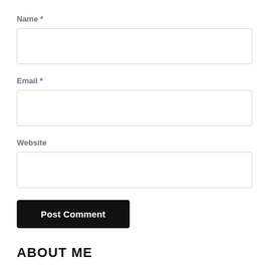Name *
[Figure (other): Text input field for Name]
Email *
[Figure (other): Text input field for Email]
Website
[Figure (other): Text input field for Website]
Post Comment
ABOUT ME